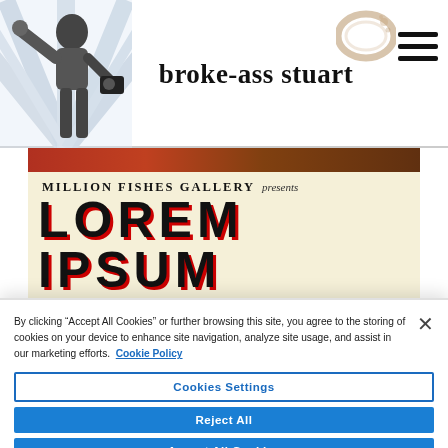broke-ass stuart
[Figure (screenshot): Million Fishes Gallery presents LOREM IPSUM gallery event poster/banner with cream background and stylized large text]
By clicking “Accept All Cookies” or further browsing this site, you agree to the storing of cookies on your device to enhance site navigation, analyze site usage, and assist in our marketing efforts. Cookie Policy
Cookies Settings
Reject All
Accept All Cookies